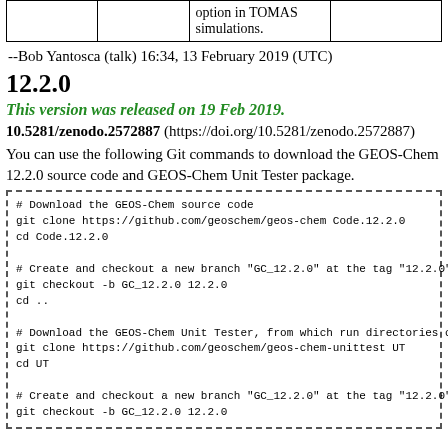|  |  | option in TOMAS simulations. |  |
--Bob Yantosca (talk) 16:34, 13 February 2019 (UTC)
12.2.0
This version was released on 19 Feb 2019.
10.5281/zenodo.2572887 (https://doi.org/10.5281/zenodo.2572887)
You can use the following Git commands to download the GEOS-Chem 12.2.0 source code and GEOS-Chem Unit Tester package.
# Download the GEOS-Chem source code
git clone https://github.com/geoschem/geos-chem Code.12.2.0
cd Code.12.2.0

# Create and checkout a new branch "GC_12.2.0" at the tag "12.2.0"
git checkout -b GC_12.2.0 12.2.0
cd ..

# Download the GEOS-Chem Unit Tester, from which run directories can
git clone https://github.com/geoschem/geos-chem-unittest UT
cd UT

# Create and checkout a new branch "GC_12.2.0" at the tag "12.2.0"
git checkout -b GC_12.2.0 12.2.0